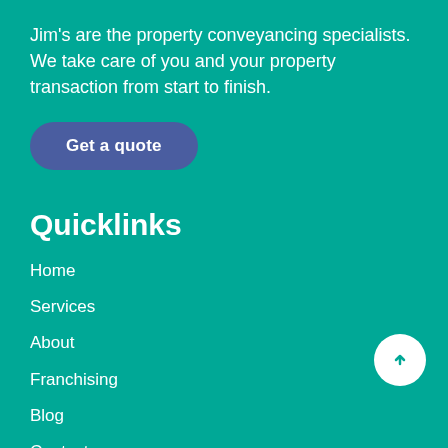Jim's are the property conveyancing specialists. We take care of you and your property transaction from start to finish.
Get a quote
Quicklinks
Home
Services
About
Franchising
Blog
Contact
Contact Us